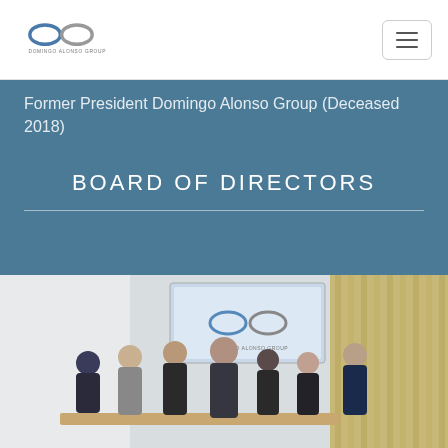Domingo Alonso Group logo and navigation
Former President Domingo Alonso Group (Deceased 2018)
BOARD OF DIRECTORS
[Figure (photo): Group photo of the Board of Directors of Domingo Alonso Group, standing and sitting in front of a screen displaying the company logo, in a modern office setting with bamboo wall decoration.]